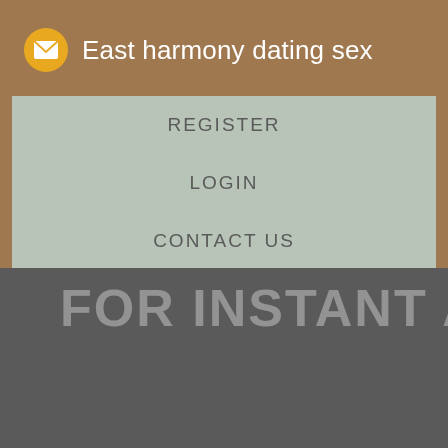East harmony dating sex
REGISTER
LOGIN
CONTACT US
[Figure (screenshot): Bottom dark gray section with partially visible large white text reading 'For Instant A...' cropped at the right edge]